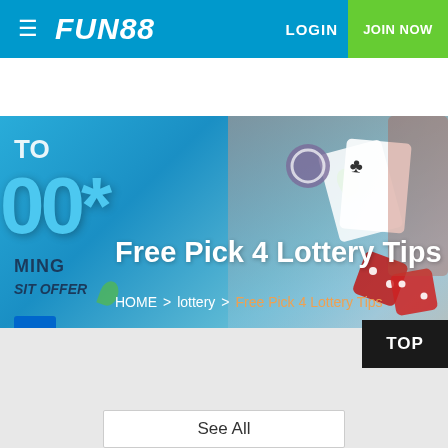FUN88  LOGIN  JOIN NOW
[Figure (illustration): Hero banner with casino/lottery imagery — playing cards, dice, chips — with promotional text 'TO', '000*', 'MING', 'SIT OFFER' visible on blue gradient background]
Free Pick 4 Lottery Tips
HOME > lottery > Free Pick 4 Lottery Tips
TOP
See All